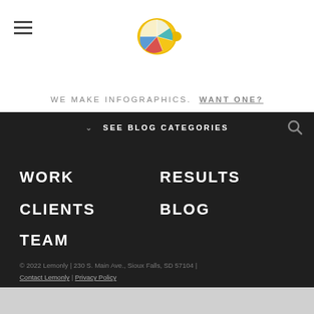[Figure (logo): Lemonly lemon logo with colorful pie-slice segments]
WE MAKE INFOGRAPHICS. WANT ONE?
SEE BLOG CATEGORIES
WORK
RESULTS
CLIENTS
BLOG
TEAM
© 2022 Lemonly | 230 S. Main Ave., Sioux Falls, SD 57104 | Contact Lemonly | Privacy Policy